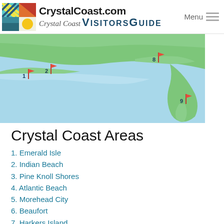CrystalCoast.com Crystal Coast VISITORSGUIDE Menu
[Figure (map): Partial map of the Crystal Coast area showing numbered red flag markers at locations 1, 2, 8, and 9. The map shows blue water (Bogue Sound / Atlantic Ocean) with green land areas. Marker 1 is at the far left, marker 2 slightly right of center-left, marker 8 at center-right on a barrier island, and marker 9 at the bottom-right on a cape or point.]
Crystal Coast Areas
1. Emerald Isle
2. Indian Beach
3. Pine Knoll Shores
4. Atlantic Beach
5. Morehead City
6. Beaufort
7. Harkers Island
8. Shackleford Banks
9. Cape lookout